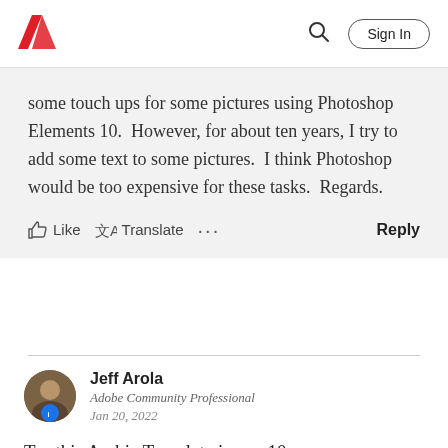Adobe | Sign In
some touch ups for some pictures using Photoshop Elements 10.  However, for about ten years, I try to add some text to some pictures.  I think Photoshop would be too expensive for these tasks.  Regards.
Like   Translate   ...   Reply
Jeff Arola
Adobe Community Professional
Jan 20, 2022
Try this Arabic Template in pse 10